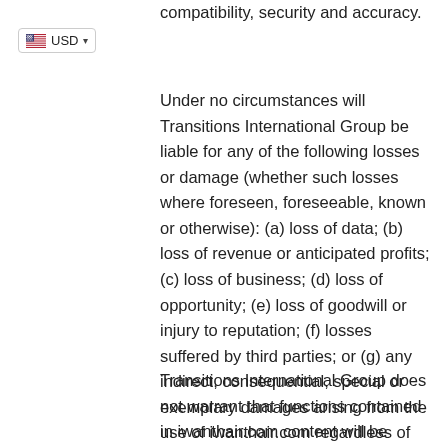compatibility, security and accuracy.
Under no circumstances will Transitions International Group be liable for any of the following losses or damage (whether such losses where foreseen, foreseeable, known or otherwise): (a) loss of data; (b) loss of revenue or anticipated profits; (c) loss of business; (d) loss of opportunity; (e) loss of goodwill or injury to reputation; (f) losses suffered by third parties; or (g) any indirect, consequential, special or exemplary damages arising from the use of iwanthair.com regardless of the form of action.
Transitions International Group does not warrant that functions contained in iwanthair.com content will be